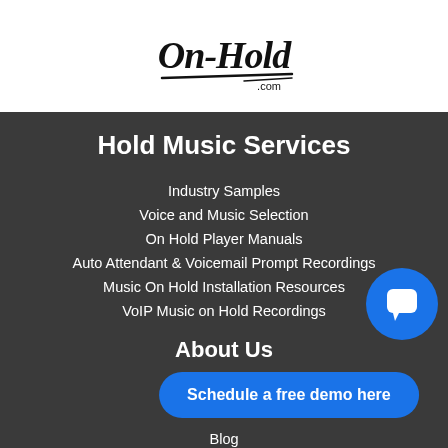[Figure (logo): On-Hold.com handwritten script logo]
Hold Music Services
Industry Samples
Voice and Music Selection
On Hold Player Manuals
Auto Attendant & Voicemail Prompt Recordings
Music On Hold Installation Resources
VoIP Music on Hold Recordings
About Us
Our Story
Blog
[Figure (illustration): Blue circular chat button icon]
Schedule a free demo here